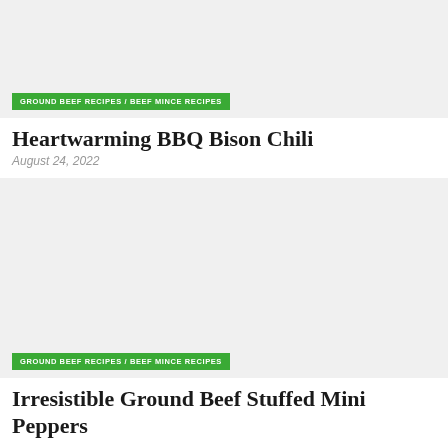[Figure (photo): Food photo placeholder for Heartwarming BBQ Bison Chili with a green category tag overlay]
GROUND BEEF RECIPES / BEEF MINCE RECIPES
Heartwarming BBQ Bison Chili
August 24, 2022
[Figure (photo): Food photo placeholder for Irresistible Ground Beef Stuffed Mini Peppers with a green category tag overlay]
GROUND BEEF RECIPES / BEEF MINCE RECIPES
Irresistible Ground Beef Stuffed Mini Peppers